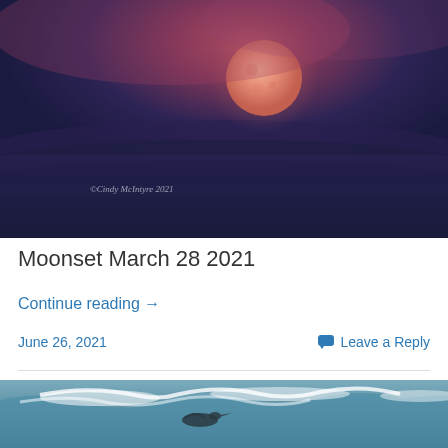[Figure (photo): A large pink/red full moon setting against a dark blue-purple sky, with the ocean visible below. Watermark text reads '©Cindy McIntyre 2021' in the lower left.]
Moonset March 28 2021
Continue reading →
June 26, 2021    💬 Leave a Reply
[Figure (photo): Partial view of ocean waves with a bird (pelican) near the water surface.]